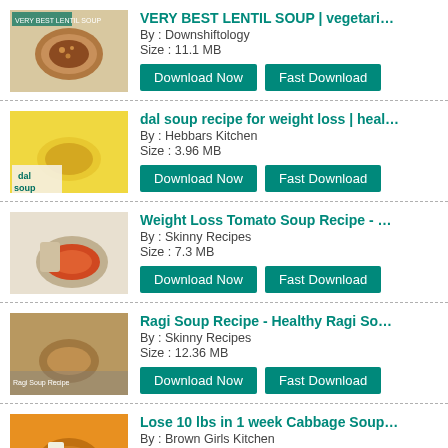VERY BEST LENTIL SOUP | vegetarian one-pot lentil soup | By : Downshiftology | Size : 11.1 MB
dal soup recipe for weight loss | healthy lentil soup rec | By : Hebbars Kitchen | Size : 3.96 MB
Weight Loss Tomato Soup Recipe - Oil Free Skinny Recipe | By : Skinny Recipes | Size : 7.3 MB
Ragi Soup Recipe - Healthy Ragi Soup For Dinner - Ragi | By : Skinny Recipes | Size : 12.36 MB
Lose 10 lbs in 1 week Cabbage Soup Diet Recipe | Cabb | By : Brown Girls Kitchen | Size : 8.13 MB